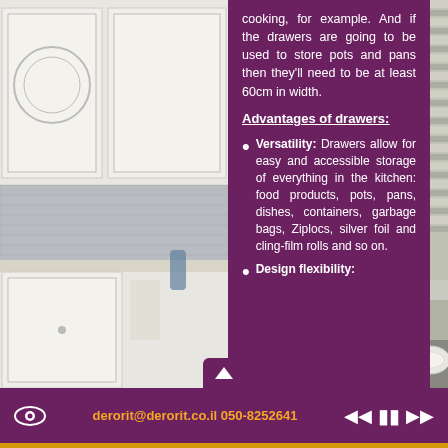[Figure (photo): Left side: white kitchen cabinets with glass-front upper cabinet, mosaic tile backsplash, white countertops. Right side: modern kitchen with horizontal striped blind/shade and stainless steel appliances.]
cooking, for example. And if the drawers are going to be used to store pots and pans then they'll need to be at least 60cm in width.
Advantages of drawers:
Versatility: Drawers allow for easy and accessible storage of everything in the kitchen: food products, pots, pans, dishes, containers, garbage bags, Ziplocs, silver foil and cling-film rolls and so on.
Design flexibility:
derorit@derorit.co.il 050-8252641